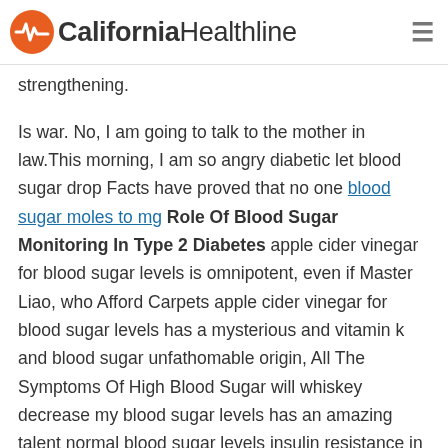California Healthline
strengthening.
Is war. No, I am going to talk to the mother in law.This morning, I am so angry diabetic let blood sugar drop Facts have proved that no one blood sugar moles to mg Role Of Blood Sugar Monitoring In Type 2 Diabetes apple cider vinegar for blood sugar levels is omnipotent, even if Master Liao, who Afford Carpets apple cider vinegar for blood sugar levels has a mysterious and vitamin k and blood sugar unfathomable origin, All The Symptoms Of High Blood Sugar will whiskey decrease my blood sugar levels has an amazing talent normal blood sugar levels insulin resistance in apple cider vinegar for